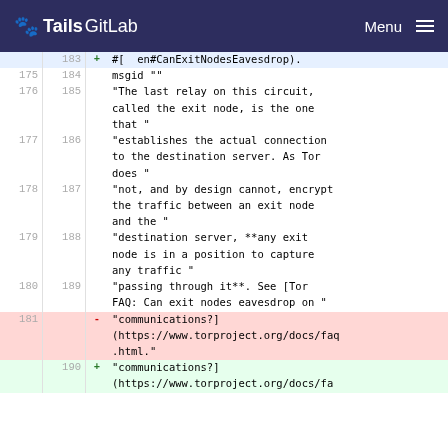Tails GitLab   Menu
| old line | new line | op | content |
| --- | --- | --- | --- |
|  | 183 | + | #[  en#CanExitNodesEavesdrop). |
| 175 | 184 |  | msgid "" |
| 176 | 185 |  | "The last relay on this circuit, called the exit node, is the one that " |
| 177 | 186 |  | "establishes the actual connection to the destination server. As Tor does " |
| 178 | 187 |  | "not, and by design cannot, encrypt the traffic between an exit node and the " |
| 179 | 188 |  | "destination server, **any exit node is in a position to capture any traffic " |
| 180 | 189 |  | "passing through it**. See [Tor FAQ: Can exit nodes eavesdrop on " |
| 181 |  | - | "communications?](https://www.torproject.org/docs/faq.html." |
|  | 190 | + | "communications?] |